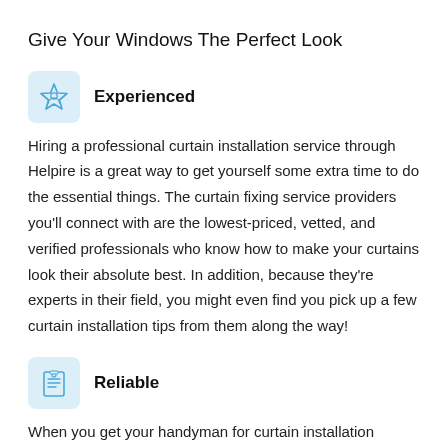Give Your Windows The Perfect Look
Experienced
Hiring a professional curtain installation service through Helpire is a great way to get yourself some extra time to do the essential things. The curtain fixing service providers you'll connect with are the lowest-priced, vetted, and verified professionals who know how to make your curtains look their absolute best. In addition, because they're experts in their field, you might even find you pick up a few curtain installation tips from them along the way!
Reliable
When you get your handyman for curtain installation service, you want to know that you're hiring the best curtain installation service for your money. The professionals you connect with that provide curtain installation service in UAE are licensed and pre-